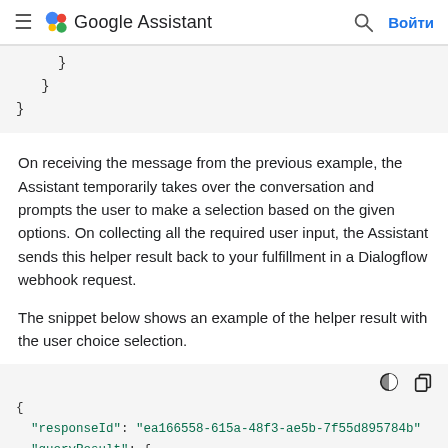Google Assistant — nav bar with hamburger menu, Google Assistant logo, search icon, and Войти (Sign in) button
}
  }
}
On receiving the message from the previous example, the Assistant temporarily takes over the conversation and prompts the user to make a selection based on the given options. On collecting all the required user input, the Assistant sends this helper result back to your fulfillment in a Dialogflow webhook request.
The snippet below shows an example of the helper result with the user choice selection.
[Figure (screenshot): Code snippet showing JSON with responseId and queryResult keys, with dark/copy toolbar icons]
{
  "responseId": "ea166558-615a-48f3-ae5b-7f55d895784b"
  "queryResult": {